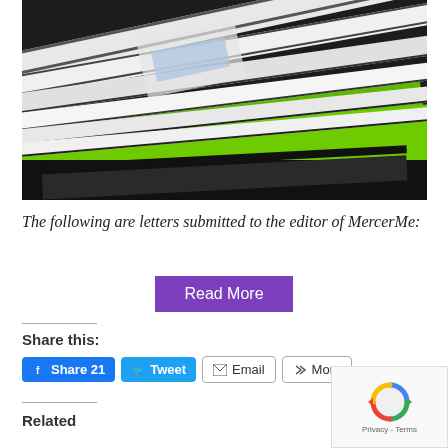[Figure (photo): Stack of envelopes and letters with a bright green folder visible beneath, photographed at an angle against a dark background]
The following are letters submitted to the editor of MercerMe:
Read More
Share this:
Share 21
Tweet
Email
More
Related